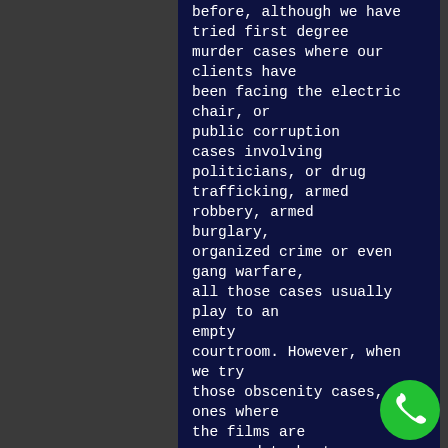before, although we have tried first degree murder cases where our clients have been facing the electric chair, or public corruption cases involving politicians, or drug trafficking, armed robbery, armed burglary, organized crime or even gang warfare, all those cases usually play to an empty courtroom. However, when we try those obscenity cases, the ones where the films are supposed to be too disgusting for citizens of the United States or for a specific geographic area to be allowed to purchase, when those films are shown on the overhead screens, it is standing room only. We just wish that we could have the